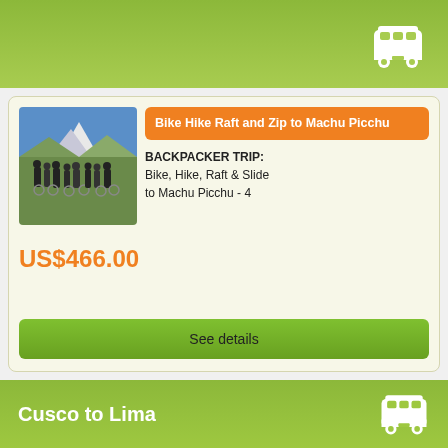[Figure (screenshot): Top green gradient banner with white bus icon on right]
[Figure (photo): Group of cyclists on a mountain trail with snowy peaks in background]
Bike Hike Raft and Zip to Machu Picchu
BACKPACKER TRIP: Bike, Hike, Raft & Slide to Machu Picchu - 4
US$466.00
See details
Cusco to Lima
[Figure (illustration): White bus icon on green banner]
[Figure (photo): Person with sunglasses in sandy/desert environment]
Andes to Deserts Hop
Travel Pass from Cuzco to Lima via Arequipa, Colca Canyon, Nazca,
US$355.00